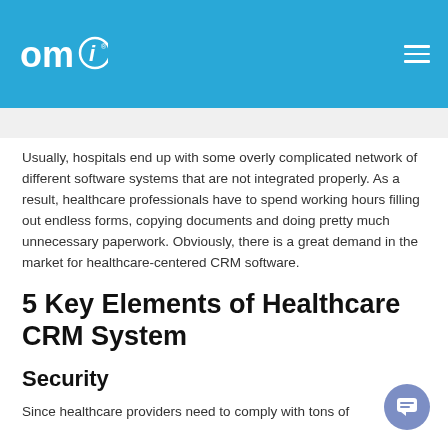omi [logo]
Usually, hospitals end up with some overly complicated network of different software systems that are not integrated properly. As a result, healthcare professionals have to spend working hours filling out endless forms, copying documents and doing pretty much unnecessary paperwork. Obviously, there is a great demand in the market for healthcare-centered CRM software.
5 Key Elements of Healthcare CRM System
Security
Since healthcare providers need to comply with tons of